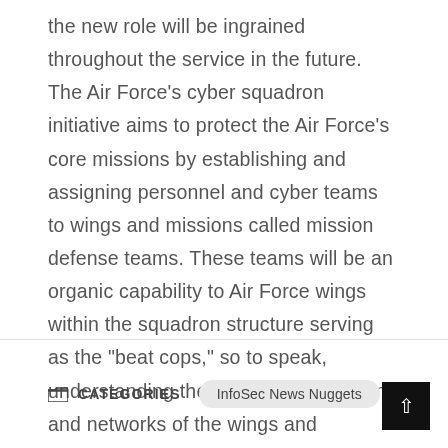the new role will be ingrained throughout the service in the future. The Air Force's cyber squadron initiative aims to protect the Air Force's core missions by establishing and assigning personnel and cyber teams to wings and missions called mission defense teams. These teams will be an organic capability to Air Force wings within the squadron structure serving as the "beat cops," so to speak, understanding the critical cyber terrain and networks of the wings and missions they're assigned to even deploying with these units in some cases.
CATEGORIES  InfoSec News Nuggets